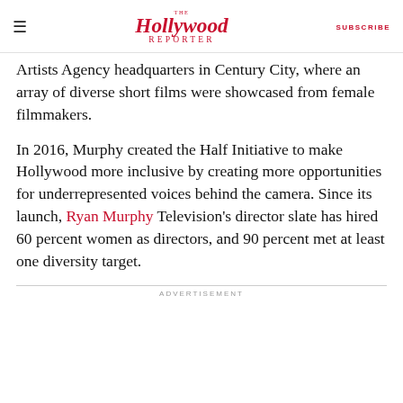The Hollywood Reporter | SUBSCRIBE
Artists Agency headquarters in Century City, where an array of diverse short films were showcased from female filmmakers.
In 2016, Murphy created the Half Initiative to make Hollywood more inclusive by creating more opportunities for underrepresented voices behind the camera. Since its launch, Ryan Murphy Television’s director slate has hired 60 percent women as directors, and 90 percent met at least one diversity target.
ADVERTISEMENT